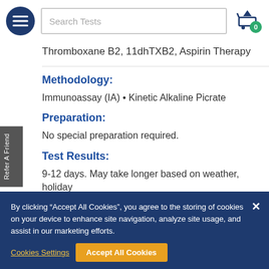Search Tests | Cart: 0
Thromboxane B2, 11dhTXB2, Aspirin Therapy
Methodology:
Immunoassay (IA) • Kinetic Alkaline Picrate
Preparation:
No special preparation required.
Test Results:
9-12 days. May take longer based on weather, holiday
By clicking “Accept All Cookies”, you agree to the storing of cookies on your device to enhance site navigation, analyze site usage, and assist in our marketing efforts.